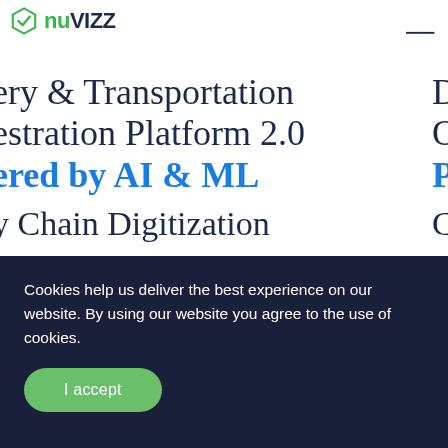nuvizz [logo] [hamburger menu]
ery & Transportation Orchestration Platform 2.0 Powered by AI & ML
y Chain Digitization  Custo
Cookies help us deliver the best experience on our website. By using our website you agree to the use of cookies.
I accept